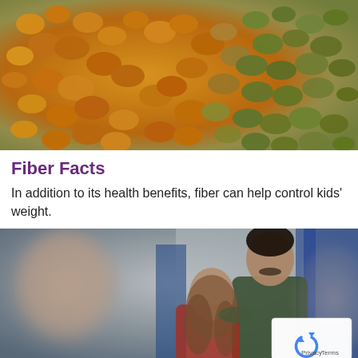[Figure (photo): Close-up photo of mixed dried lentils and legumes — orange/red lentils on the left and green/grey lentils on the right — spread across the frame]
Fiber Facts
In addition to its health benefits, fiber can help control kids' weight.
[Figure (photo): Photo of a doctor or adult male in a dark green shirt examining or talking to a teenage girl with long brown hair in a medical or clinical setting with blue curtain background. A reCAPTCHA badge is visible in the bottom right corner with Privacy and Terms links.]